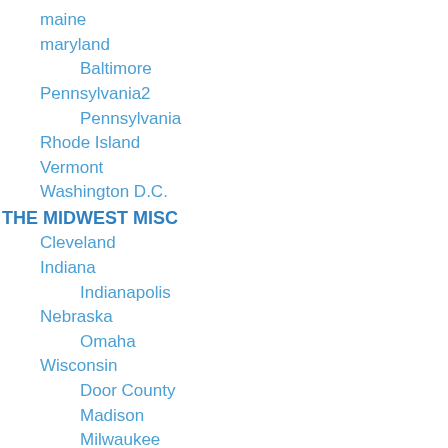maine
maryland
Baltimore
Pennsylvania2
Pennsylvania
Rhode Island
Vermont
Washington D.C.
THE MIDWEST MISC
Cleveland
Indiana
Indianapolis
Nebraska
Omaha
Wisconsin
Door County
Madison
Milwaukee
THE SOUTH MISC
Alabama